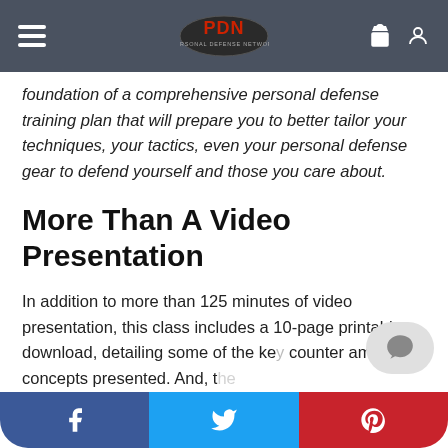PDN Personal Defense Network
foundation of a comprehensive personal defense training plan that will prepare you to better tailor your techniques, your tactics, even your personal defense gear to defend yourself and those you care about.
More Than A Video Presentation
In addition to more than 125 minutes of video presentation, this class includes a 10-page printable download, detailing some of the key counter ambush concepts presented. And, the…